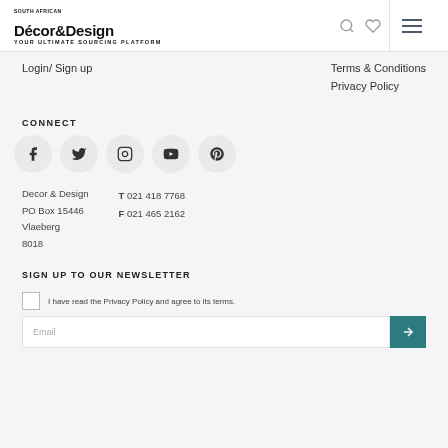Décor&Design — Your Ultimate Sourcing Platform
Login/ Sign up
Terms & Conditions
Privacy Policy
CONNECT
[Figure (infographic): Social media icon links: Facebook, Twitter, Instagram, YouTube, Pinterest]
Decor & Design
PO Box 15446
Vlaeberg
8018
T 021 418 7768
F 021 465 2162
SIGN UP TO OUR NEWSLETTER
I have read the Privacy Policy and agree to its terms.
Email